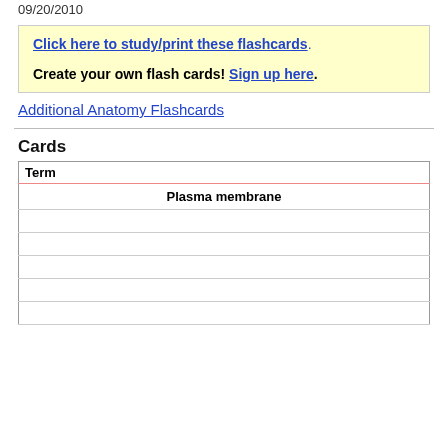09/20/2010
Click here to study/print these flashcards. Create your own flash cards! Sign up here.
Additional Anatomy Flashcards
Cards
| Term |
| --- |
| Plasma membrane |
|  |
|  |
|  |
|  |
|  |